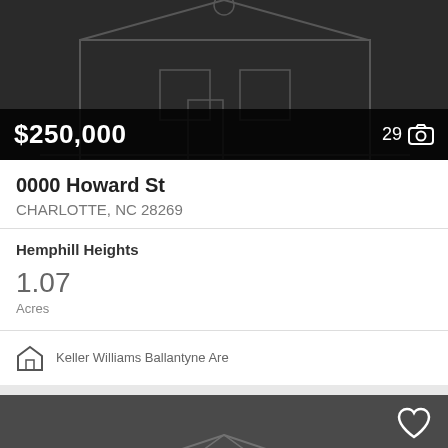[Figure (photo): Dark real estate listing card showing a house illustration with price $250,000 and 29 photos indicator]
0000 Howard St
CHARLOTTE, NC 28269
Hemphill Heights
1.07
Acres
Keller Williams Ballantyne Are
[Figure (photo): Dark gray real estate listing card showing a house illustration with heart/favorite icon and accessibility badge]